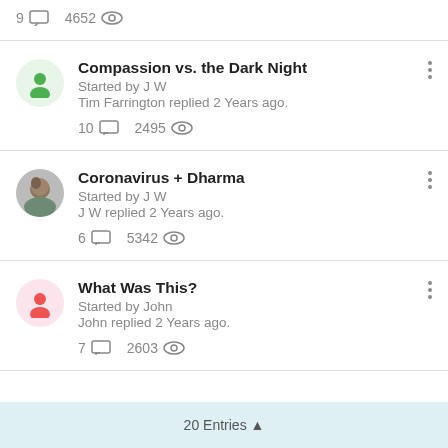9 comments  4652 views (partial top item)
Compassion vs. the Dark Night
Started by J W
Tim Farrington replied 2 Years ago.
10 comments  2495 views
Coronavirus + Dharma
Started by J W
J W replied 2 Years ago.
6 comments  5342 views
What Was This?
Started by John
John replied 2 Years ago.
7 comments  2603 views
20 Entries